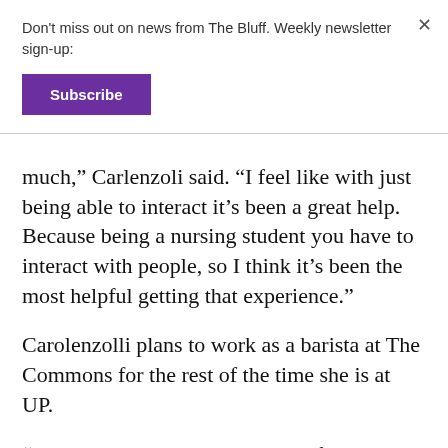Don't miss out on news from The Bluff. Weekly newsletter sign-up:
Subscribe
much,” Carlenzoli said. “I feel like with just being able to interact it’s been a great help. Because being a nursing student you have to interact with people, so I think it’s been the most helpful getting that experience.”
Carolenzolli plans to work as a barista at The Commons for the rest of the time she is at UP.
“I even asked my boss a couple of weeks ago because I was scared that I have to